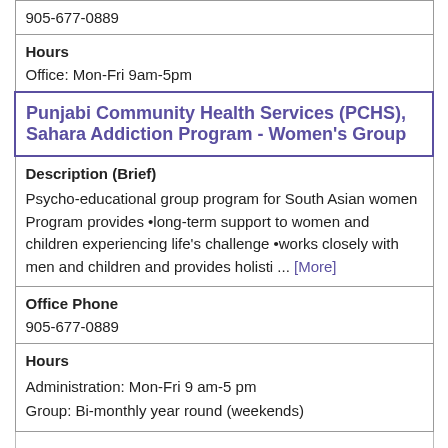905-677-0889
Hours
Office: Mon-Fri 9am-5pm
Punjabi Community Health Services (PCHS), Sahara Addiction Program - Women's Group
Description (Brief)
Psycho-educational group program for South Asian women Program provides •long-term support to women and children experiencing life's challenge •works closely with men and children and provides holisti ... [More]
Office Phone
905-677-0889
Hours
Administration: Mon-Fri 9 am-5 pm
Group: Bi-monthly year round (weekends)